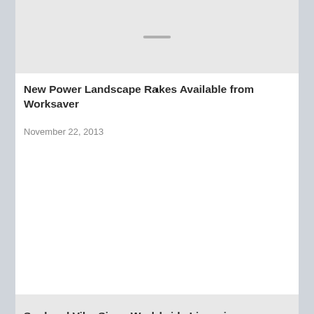[Figure (photo): Placeholder image with loading lines at top of page]
New Power Landscape Rakes Available from Worksaver
November 22, 2013
[Figure (photo): Placeholder image with loading lines in center of image]
Soul and Vibe Signs Worldwide Licensing